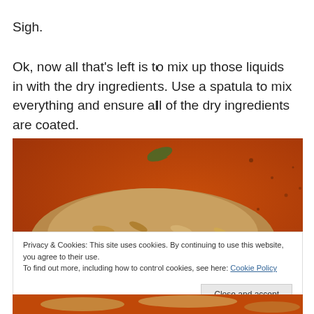Sigh.
Ok, now all that's left is to mix up those liquids in with the dry ingredients. Use a spatula to mix everything and ensure all of the dry ingredients are coated.
[Figure (photo): Close-up photo of granola oats and seeds being mixed in an orange/red bowl, viewed from above.]
Privacy & Cookies: This site uses cookies. By continuing to use this website, you agree to their use.
To find out more, including how to control cookies, see here: Cookie Policy
[Figure (photo): Bottom edge of another photo showing granola in the orange bowl.]